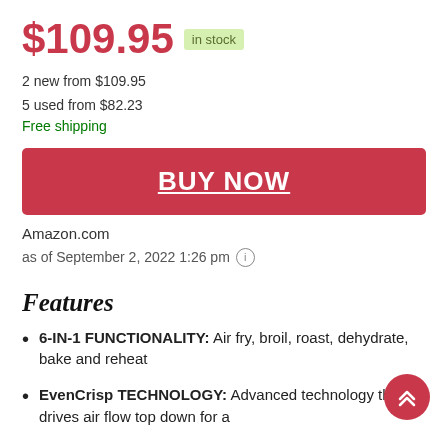$109.95 in stock
2 new from $109.95
5 used from $82.23
Free shipping
BUY NOW
Amazon.com
as of September 2, 2022 1:26 pm
Features
6-IN-1 FUNCTIONALITY: Air fry, broil, roast, dehydrate, bake and reheat
EvenCrisp TECHNOLOGY: Advanced technology that drives air flow top down for a faster better finish and crispier results